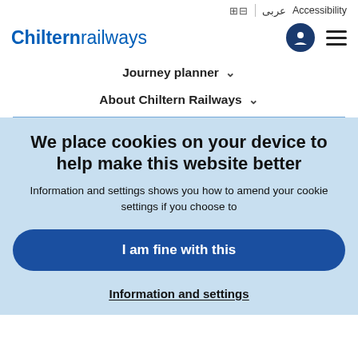🔲🔲 | عربى | Accessibility
[Figure (logo): Chiltern railways logo in blue text]
Journey planner ∨
About Chiltern Railways ∨
We place cookies on your device to help make this website better
Information and settings shows you how to amend your cookie settings if you choose to
I am fine with this
Information and settings